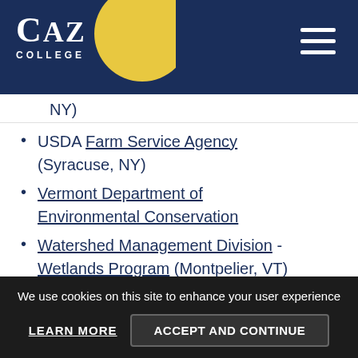CAZ COLLEGE
NY)
USDA Farm Service Agency (Syracuse, NY)
Vermont Department of Environmental Conservation
Watershed Management Division - Wetlands Program (Montpelier, VT)
Wildlife Conservation Society (Bronx, NY)
We use cookies on this site to enhance your user experience LEARN MORE ACCEPT AND CONTINUE